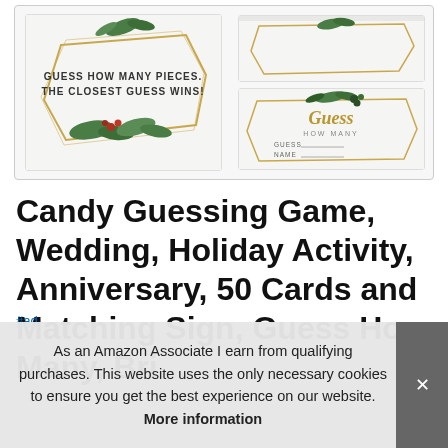[Figure (photo): Product image showing candy guessing game cards with greenery/botanical design. Left card shows a large sign with 'GUESS HOW MANY PIECES. THE CLOSEST GUESS WINS!' text inside a gold geometric hexagon frame with green leaves. Right side shows two cards stacked: top card is partially visible, bottom card shows a 'Guess HOW MANY' card with GUESS and NAME fill-in lines, also with gold geometric frame and green botanical elements.]
Candy Guessing Game, Wedding, Holiday Activity, Anniversary, 50 Cards and Matching Sign, Guess How Many, Bri...
#ad
As an Amazon Associate I earn from qualifying purchases. This website uses the only necessary cookies to ensure you get the best experience on our website. More information